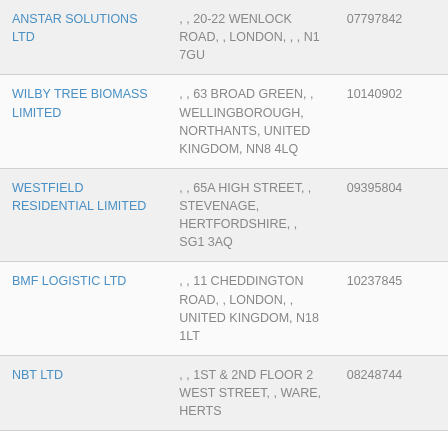| Company Name | Address | Number |
| --- | --- | --- |
| ANSTAR SOLUTIONS LTD | , , 20-22 WENLOCK ROAD, , LONDON, , , N1 7GU | 07797842 |
| WILBY TREE BIOMASS LIMITED | , , 63 BROAD GREEN, , WELLINGBOROUGH, NORTHANTS, UNITED KINGDOM, NN8 4LQ | 10140902 |
| WESTFIELD RESIDENTIAL LIMITED | , , 65A HIGH STREET, , STEVENAGE, HERTFORDSHIRE, , SG1 3AQ | 09395804 |
| BMF LOGISTIC LTD | , , 11 CHEDDINGTON ROAD, , LONDON, , UNITED KINGDOM, N18 1LT | 10237845 |
| NBT LTD | , , 1ST & 2ND FLOOR 2 WEST STREET, , WARE, HERTS | 08248744 |